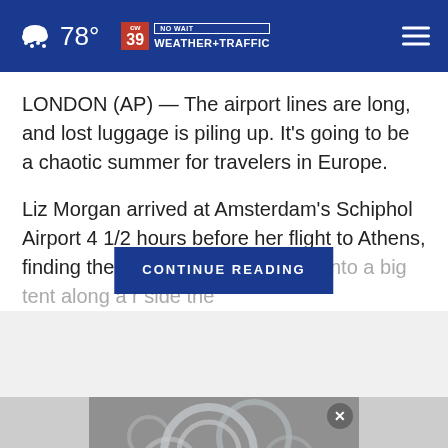78° CW39 NO WAIT WEATHER+TRAFFIC
LONDON (AP) — The airport lines are long, and lost luggage is piling up. It's going to be a chaotic summer for travelers in Europe.
Liz Morgan arrived at Amsterdam's Schiphol Airport 4 1/2 hours before her flight to Athens, finding the line for security sn… and into a big tent along a r… …side the
CONTINUE READING
[Figure (photo): Close-up photo of glass laboratory equipment or similar glassware]
SHE CAN STEM